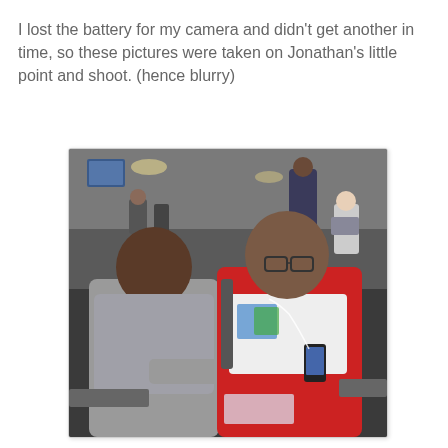I lost the battery for my camera and didn't get another in time, so these pictures were taken on Jonathan's little point and shoot. (hence blurry)
[Figure (photo): Two boys sitting in what appears to be an airport terminal. The boy on the left wears a gray long-sleeve shirt and is leaning in. The boy on the right wears a red jacket and glasses and is holding a small device, possibly a phone or music player, with earphones. People and airport seating are visible in the background.]